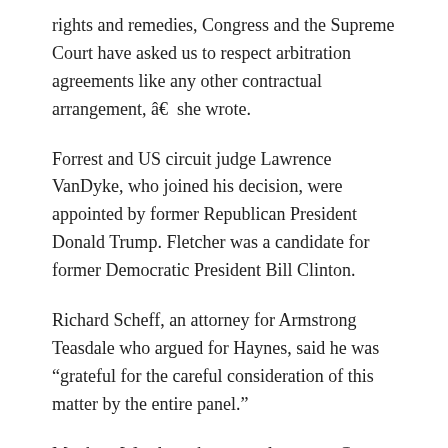rights and remedies, Congress and the Supreme Court have asked us to respect arbitration agreements like any other contractual arrangement, â€ she wrote.
Forrest and US circuit judge Lawrence VanDyke, who joined his decision, were appointed by former Republican President Donald Trump. Fletcher was a candidate for former Democratic President Bill Clinton.
Richard Scheff, an attorney for Armstrong Teasdale who argued for Haynes, said he was “grateful for the careful consideration of this matter by the entire panel.”
Matthew Wessler, a borrower lawyer at Gupta Wessler, declined to comment.
Think Finance filed for bankruptcy in 2017. It was the subject of lawsuits by borrowers and the attorney general of Pennsylvania at the time, and the US Consumer Financial Protection Bureau